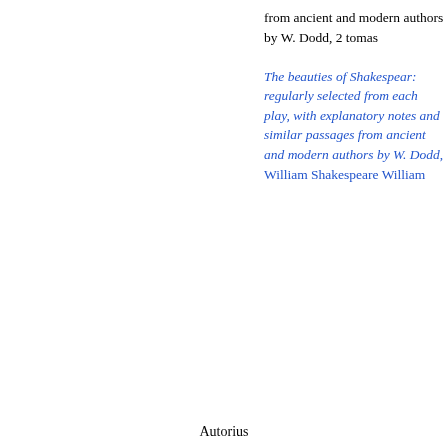from ancient and modern authors by W. Dodd, 2 tomas
The beauties of Shakespear: regularly selected from each play, with explanatory notes and similar passages from ancient and modern authors by W. Dodd, William Shakespeare William
Autorius